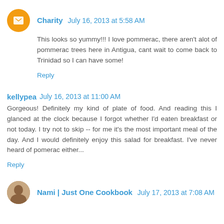Charity  July 16, 2013 at 5:58 AM
This looks so yummy!!! I love pommerac, there aren't alot of pommerac trees here in Antigua, cant wait to come back to Trinidad so I can have some!
Reply
kellypea  July 16, 2013 at 11:00 AM
Gorgeous! Definitely my kind of plate of food. And reading this I glanced at the clock because I forgot whether I'd eaten breakfast or not today. I try not to skip -- for me it's the most important meal of the day. And I would definitely enjoy this salad for breakfast. I've never heard of pomerac either...
Reply
Nami | Just One Cookbook  July 17, 2013 at 7:08 AM